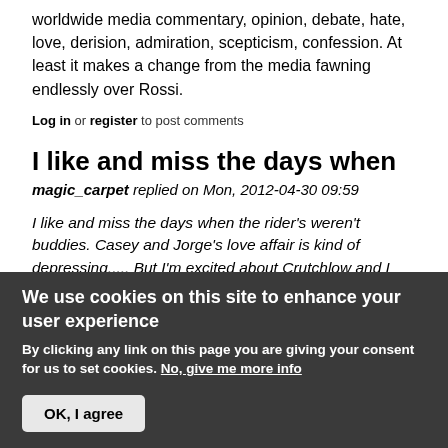worldwide media commentary, opinion, debate, hate, love, derision, admiration, scepticism, confession. At least it makes a change from the media fawning endlessly over Rossi.
Log in or register to post comments
I like and miss the days when
magic_carpet replied on Mon, 2012-04-30 09:59
I like and miss the days when the rider's weren't buddies. Casey and Jorge's love affair is kind of depressing..... But I'm excited about Crutchlow and I
We use cookies on this site to enhance your user experience
By clicking any link on this page you are giving your consent for us to set cookies. No, give me more info
OK, I agree